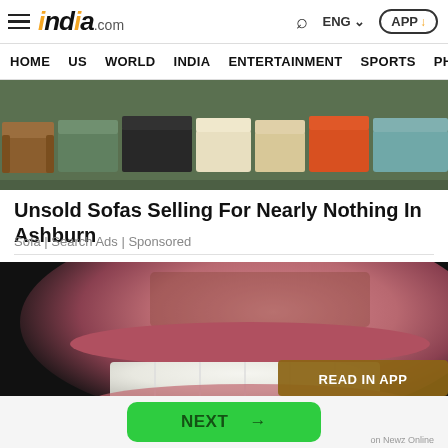india.com — HOME | US | WORLD | INDIA | ENTERTAINMENT | SPORTS | PHO
[Figure (photo): Top-down view of a furniture showroom with rows of colorful sofas in various colors including brown, teal, orange, beige, and gray]
Unsold Sofas Selling For Nearly Nothing In Ashburn
Sofa | Search Ads | Sponsored
[Figure (photo): Close-up of a person's lower face showing white teeth and stubble beard, partially obscured by a 'READ IN APP' overlay button]
NEXT →
on Newz Online